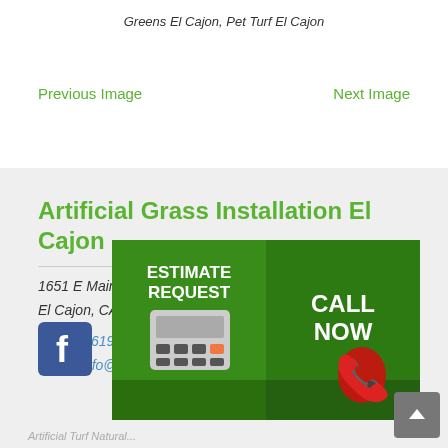Greens El Cajon, Pet Turf El Cajon
Previous Image
Next Image
Artificial Grass Installation El Cajon
1651 E Main St
El Cajon, CA 92021
Phone: (619) 503-3531
Email: info@artificialturfelcajon.com
[Figure (infographic): Estimate Request and Call Now CTA banner with calculator image and red phone on green grass background]
[Figure (logo): Facebook logo icon (blue square with white F)]